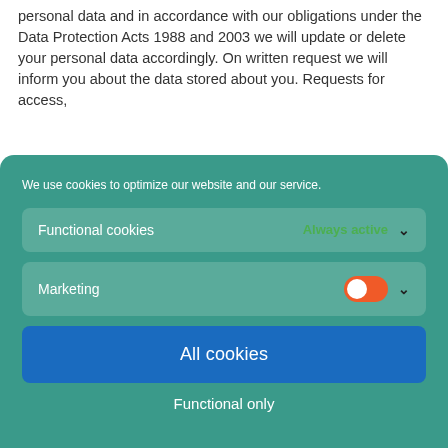personal data and in accordance with our obligations under the Data Protection Acts 1988 and 2003 we will update or delete your personal data accordingly. On written request we will inform you about the data stored about you. Requests for access,
We use cookies to optimize our website and our service.
Functional cookies
Always active
Marketing
All cookies
Functional only
Save preferences
Cookie policy   Privacy policy